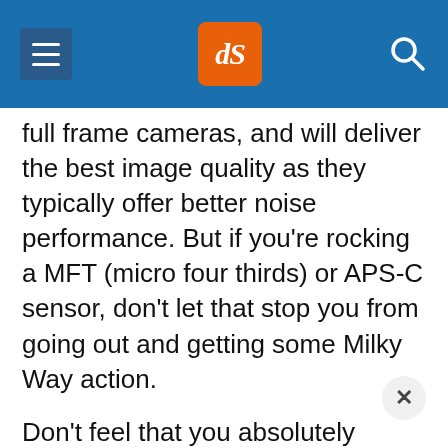dPS logo header with navigation
full frame cameras, and will deliver the best image quality as they typically offer better noise performance. But if you're rocking a MFT (micro four thirds) or APS-C sensor, don't let that stop you from going out and getting some Milky Way action.
Don't feel that you absolutely MUST have the most expensive gear. Work with what you've got, then upgrade when you become addicted, and can't resist the temptation to splurge.